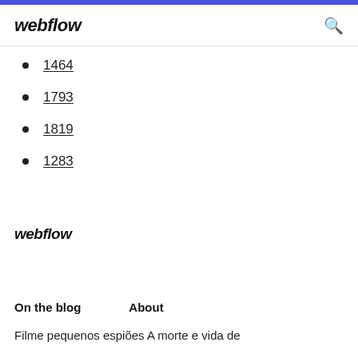webflow
1464
1793
1819
1283
webflow
On the blog
About
Filme pequenos espiões A morte e vida de